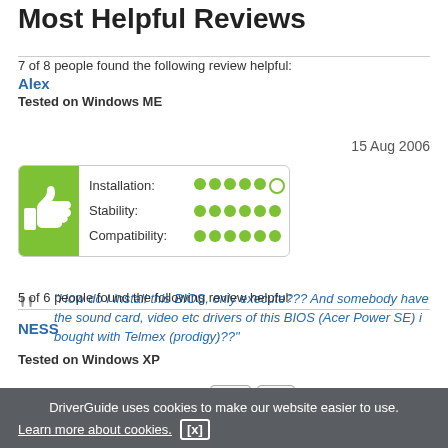Most Helpful Reviews
7 of 8 people found the following review helpful:
Alex
Tested on Windows ME
15 Aug 2006
[Figure (infographic): Green thumbs-up icon with rating dots for Installation (5/6), Stability (6/6), Compatibility (6/6)]
"How do I install this BIOS, only execute??? And somebody have the sound card, video etc drivers of this BIOS (Acer Power SE) i bought with Telmex (prodigy)??"
Was this review helpful? Yes No (Report this)
5 of 6 people found the following review helpful:
NESS
Tested on Windows XP
DriverGuide uses cookies to make our website easier to use. Learn more about cookies. [x]